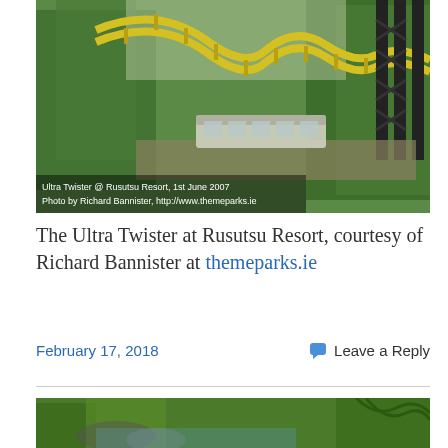[Figure (photo): Aerial view of the Ultra Twister roller coaster at Rusutsu Resort with yellow track and black steel structure surrounded by green trees, with a caption overlay: 'Ultra Twister @ Rusutsu Resort, 1st June 2007 / Photo by Richard Bannister, http://www.themeparks.ie']
The Ultra Twister at Rusutsu Resort, courtesy of Richard Bannister at themeparks.ie
February 17, 2018
Leave a Reply
[Figure (photo): Partial view of a jungle or tropical garden with green foliage and rocks near water, bottom of page]